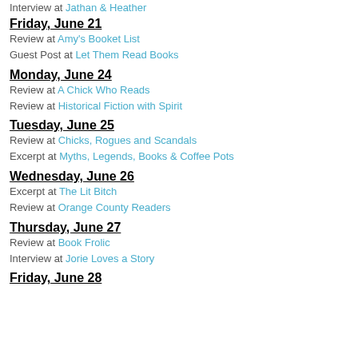Interview at Jathan & Heather
Friday, June 21
Review at Amy's Booket List
Guest Post at Let Them Read Books
Monday, June 24
Review at A Chick Who Reads
Review at Historical Fiction with Spirit
Tuesday, June 25
Review at Chicks, Rogues and Scandals
Excerpt at Myths, Legends, Books & Coffee Pots
Wednesday, June 26
Excerpt at The Lit Bitch
Review at Orange County Readers
Thursday, June 27
Review at Book Frolic
Interview at Jorie Loves a Story
Friday, June 28